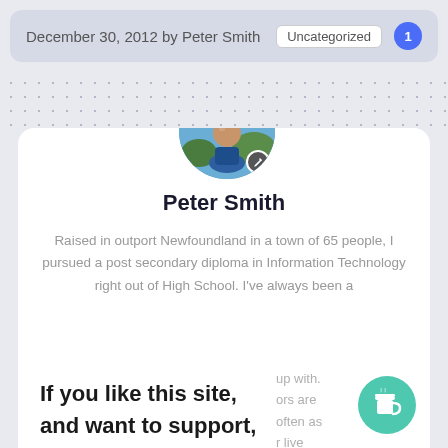December 30, 2012 by Peter Smith  Uncategorized  1
[Figure (photo): Circular profile photo of Peter Smith, a person outdoors with blue sky and trees in background, with a small edit badge]
Peter Smith
Raised in outport Newfoundland in a town of 65 people, I pursued a post secondary diploma in Information Technology right out of High School. I've always been a
If you like this site, and want to support, you can give a tiny donation here!
up with. ors are often as r live all.
[Figure (illustration): Green circular coffee cup button/widget in bottom right corner]